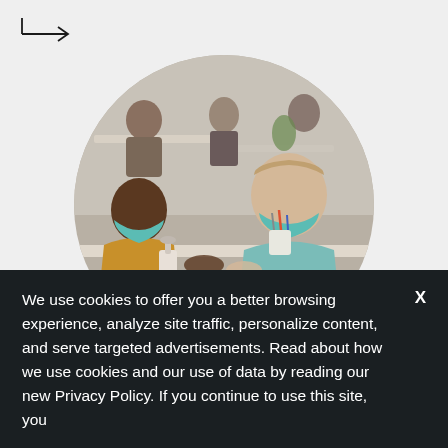[Figure (other): Arrow icon pointing right, at top left of page]
[Figure (photo): Circular cropped photograph of school children wearing teal face masks sitting at classroom desks, appearing to share hand sanitizer. Multiple children visible in background also wearing masks.]
OCT
We use cookies to offer you a better browsing experience, analyze site traffic, personalize content, and serve targeted advertisements. Read about how we use cookies and our use of data by reading our new Privacy Policy. If you continue to use this site, you